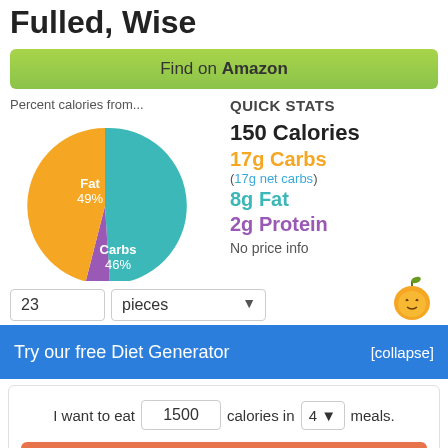Fulled, Wise
Find on Amazon
Percent calories from...
[Figure (pie-chart): Percent calories from...]
QUICK STATS
150 Calories
17g Carbs
(17g net carbs)
8g Fat
2g Protein
No price info
23   pieces
Try our free Diet Generator
[collapse]
I want to eat 1500 calories in 4 meals.
Generate